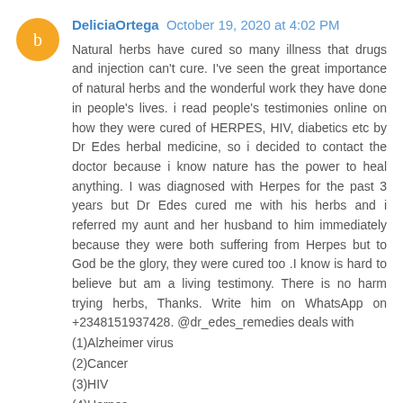DeliciaOrtega October 19, 2020 at 4:02 PM
Natural herbs have cured so many illness that drugs and injection can't cure. I've seen the great importance of natural herbs and the wonderful work they have done in people's lives. i read people's testimonies online on how they were cured of HERPES, HIV, diabetics etc by Dr Edes herbal medicine, so i decided to contact the doctor because i know nature has the power to heal anything. I was diagnosed with Herpes for the past 3 years but Dr Edes cured me with his herbs and i referred my aunt and her husband to him immediately because they were both suffering from Herpes but to God be the glory, they were cured too .I know is hard to believe but am a living testimony. There is no harm trying herbs, Thanks. Write him on WhatsApp on +2348151937428. @dr_edes_remedies deals with
(1)Alzheimer virus
(2)Cancer
(3)HIV
(4)Herpes